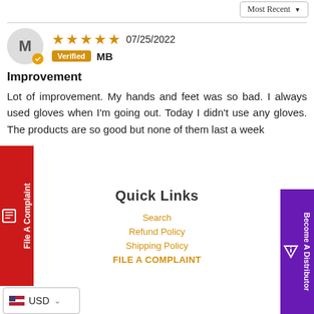Most Recent ▼
M | ✓ Verified MB | 07/25/2022 | ★★★★★
Improvement
Lot of improvement. My hands and feet was so bad. I always used gloves when I'm going out. Today I didn't use any gloves. The products are so good but none of them last a week
Quick Links
Search
Refund Policy
Shipping Policy
FILE A COMPLAINT
USD
File A Complaint
Become A Distributor